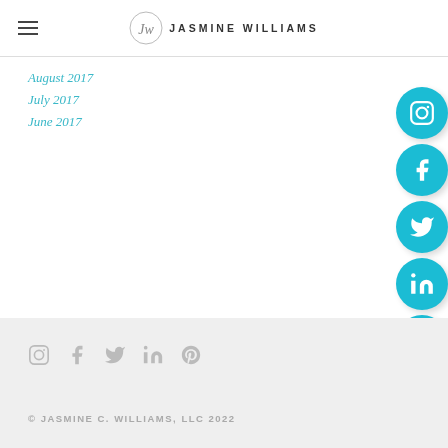Jasmine Williams
August 2017
July 2017
June 2017
[Figure (infographic): Social media sidebar icons: Instagram, Facebook, Twitter, LinkedIn, Pinterest, Messenger — teal circular buttons on right edge]
© JASMINE C. WILLIAMS, LLC 2022